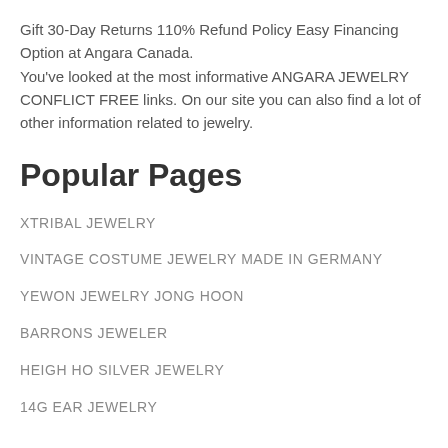Gift 30-Day Returns 110% Refund Policy Easy Financing Option at Angara Canada. You've looked at the most informative ANGARA JEWELRY CONFLICT FREE links. On our site you can also find a lot of other information related to jewelry.
Popular Pages
XTRIBAL JEWELRY
VINTAGE COSTUME JEWELRY MADE IN GERMANY
YEWON JEWELRY JONG HOON
BARRONS JEWELER
HEIGH HO SILVER JEWELRY
14G EAR JEWELRY